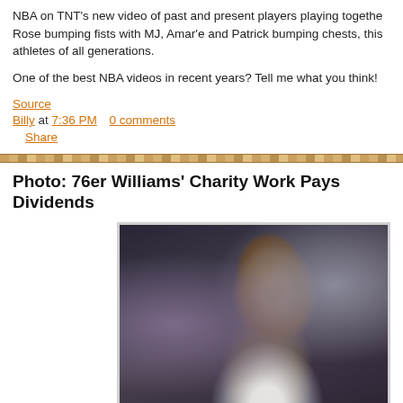NBA on TNT's new video of past and present players playing together. Rose bumping fists with MJ, Amar'e and Patrick bumping chests, this athletes of all generations.
One of the best NBA videos in recent years? Tell me what you think!
Source
Billy at 7:36 PM    0 comments
    Share
Photo: 76er Williams' Charity Work Pays Dividends
[Figure (photo): Photo of a smiling basketball player, likely Lou Williams of the Philadelphia 76ers, wearing a white jersey with red and blue accents, hands clasped together, against a blurred arena background.]